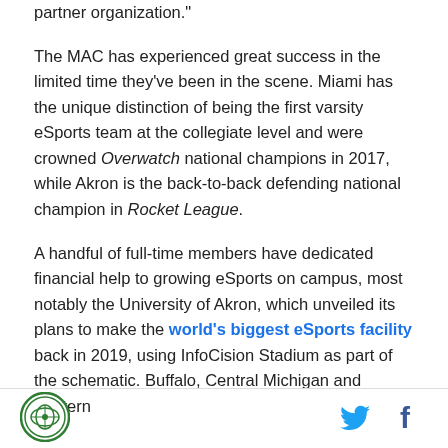partner organization."
The MAC has experienced great success in the limited time they've been in the scene. Miami has the unique distinction of being the first varsity eSports team at the collegiate level and were crowned Overwatch national champions in 2017, while Akron is the back-to-back defending national champion in Rocket League.
A handful of full-time members have dedicated financial help to growing eSports on campus, most notably the University of Akron, which unveiled its plans to make the world's biggest eSports facility back in 2019, using InfoCision Stadium as part of the schematic. Buffalo, Central Michigan and Eastern
[Figure (logo): Circular logo with green border and icon in center]